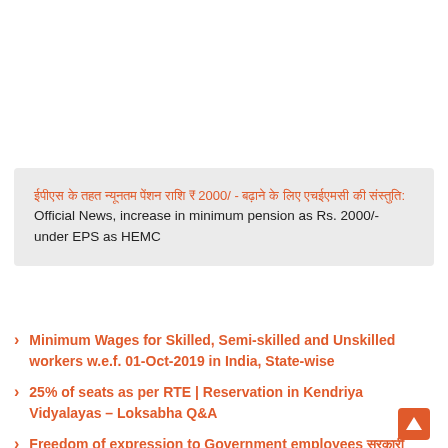ईपीएस के तहत न्यूनतम पेंशन राशि ₹ 2000/ - बढ़ाने के लिए एचईएमसी की संस्तुति: Official News, increase in minimum pension as Rs. 2000/- under EPS as HEMC
Minimum Wages for Skilled, Semi-skilled and Unskilled workers w.e.f. 01-Oct-2019 in India, State-wise
25% of seats as per RTE | Reservation in Kendriya Vidyalayas – Loksabha Q&A
Freedom of expression to Government employees सरकारी कर्मचारियों को अभिव्यक्ति की स्वतंत्रता